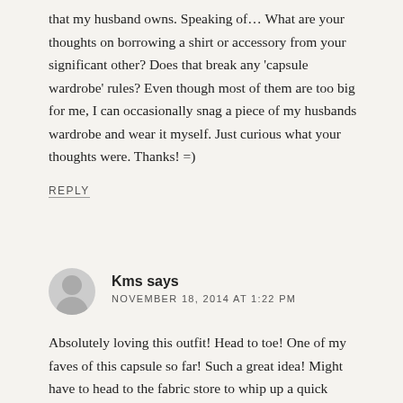that my husband owns. Speaking of… What are your thoughts on borrowing a shirt or accessory from your significant other? Does that break any 'capsule wardrobe' rules? Even though most of them are too big for me, I can occasionally snag a piece of my husbands wardrobe and wear it myself. Just curious what your thoughts were. Thanks! =)
REPLY
Kms says
NOVEMBER 18, 2014 AT 1:22 PM
Absolutely loving this outfit! Head to toe! One of my faves of this capsule so far! Such a great idea! Might have to head to the fabric store to whip up a quick